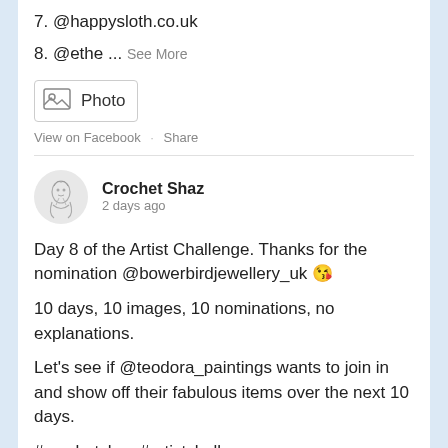7. @happysloth.co.uk
8. @ethe ... See More
[Figure (other): Photo button with image icon and label 'Photo']
View on Facebook · Share
Crochet Shaz
2 days ago
Day 8 of the Artist Challenge. Thanks for the nomination @bowerbirdjewellery_uk 😘
10 days, 10 images, 10 nominations, no explanations.
Let's see if @teodora_paintings wants to join in and show off their fabulous items over the next 10 days.
#crochetshaz #artistchallenge #10dayartistchallenge